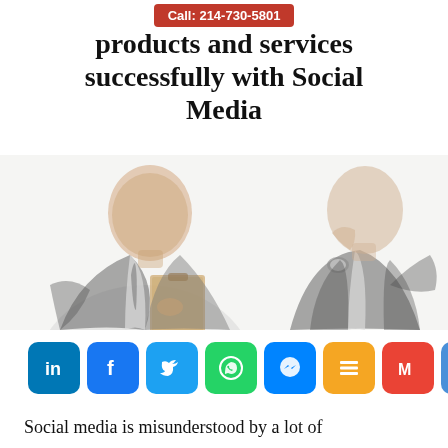Call: 214-730-5801
products and services successfully with Social Media
[Figure (illustration): Sketch-style illustration of two businessmen in suits. Left figure holds a clipboard/folder, right figure adjusts his jacket collar showing a watch.]
[Figure (infographic): Row of social media sharing icons: LinkedIn, Facebook, Twitter, WhatsApp, Messenger, a table/grid icon, Gmail, Email envelope]
Social media is misunderstood by a lot of